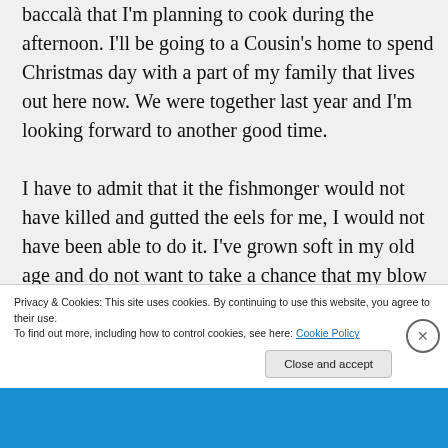baccalà that I'm planning to cook during the afternoon. I'll be going to a Cousin's home to spend Christmas day with a part of my family that lives out here now. We were together last year and I'm looking forward to another good time. I have to admit that it the fishmonger would not have killed and gutted the eels for me, I would not have been able to do it. I've grown soft in my old age and do not want to take a chance that my blow wouldn't be
Privacy & Cookies: This site uses cookies. By continuing to use this website, you agree to their use.
To find out more, including how to control cookies, see here: Cookie Policy